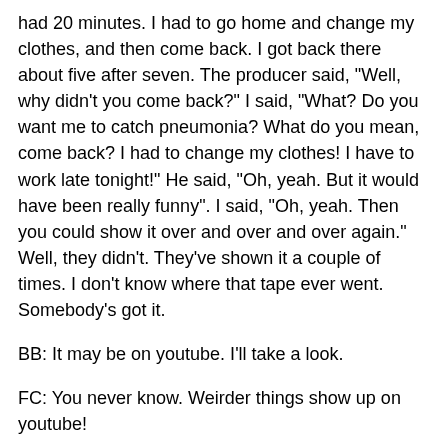had 20 minutes. I had to go home and change my clothes, and then come back. I got back there about five after seven. The producer said, "Well, why didn't you come back?" I said, "What? Do you want me to catch pneumonia? What do you mean, come back? I had to change my clothes! I have to work late tonight!" He said, "Oh, yeah. But it would have been really funny". I said, "Oh, yeah. Then you could show it over and over and over again." Well, they didn't. They've shown it a couple of times. I don't know where that tape ever went. Somebody's got it.
BB: It may be on youtube. I'll take a look.
FC: You never know. Weirder things show up on youtube!
--------------------------------------------------------
10. Where do you see radio being in ten years? Do you hope to be a part of it?
FC: Well, I'll be 80, so if I'm still a part of it, it will be a miracle. But, I hope it's going to go the way we talked earlier, the way that 96.5 and maybe Q104 and this station will still